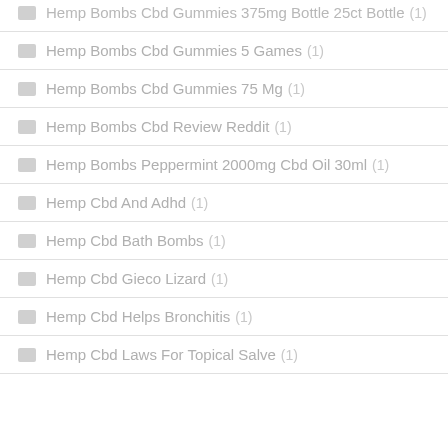Hemp Bombs Cbd Gummies 375mg Bottle 25ct Bottle (1)
Hemp Bombs Cbd Gummies 5 Games (1)
Hemp Bombs Cbd Gummies 75 Mg (1)
Hemp Bombs Cbd Review Reddit (1)
Hemp Bombs Peppermint 2000mg Cbd Oil 30ml (1)
Hemp Cbd And Adhd (1)
Hemp Cbd Bath Bombs (1)
Hemp Cbd Gieco Lizard (1)
Hemp Cbd Helps Bronchitis (1)
Hemp Cbd Laws For Topical Salve (1)